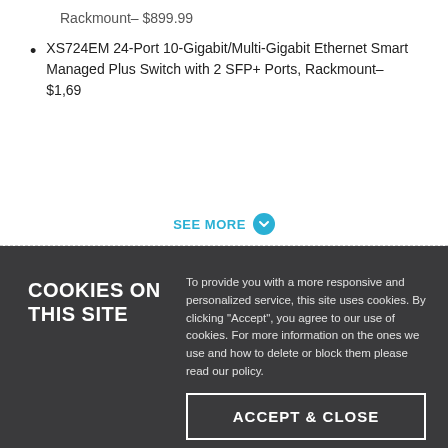Rackmount– $899.99
XS724EM 24-Port 10-Gigabit/Multi-Gigabit Ethernet Smart Managed Plus Switch with 2 SFP+ Ports, Rackmount– $1,69
SEE MORE
COOKIES ON THIS SITE
To provide you with a more responsive and personalized service, this site uses cookies. By clicking "Accept", you agree to our use of cookies. For more information on the ones we use and how to delete or block them please read our policy.
ACCEPT & CLOSE
Read our cookie policy